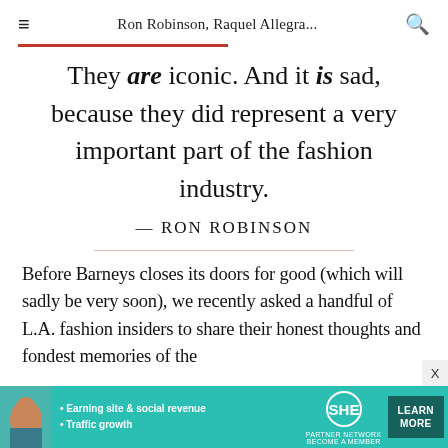Ron Robinson, Raquel Allegra...
They are iconic. And it is sad, because they did represent a very important part of the fashion industry.
— RON ROBINSON
Before Barneys closes its doors for good (which will sadly be very soon), we recently asked a handful of L.A. fashion insiders to share their honest thoughts and fondest memories of the
[Figure (infographic): SHE Media Partner Network advertisement banner with woman photo, bullets for 'Earning site & social revenue' and 'Traffic growth', SHE logo, and LEARN MORE button]